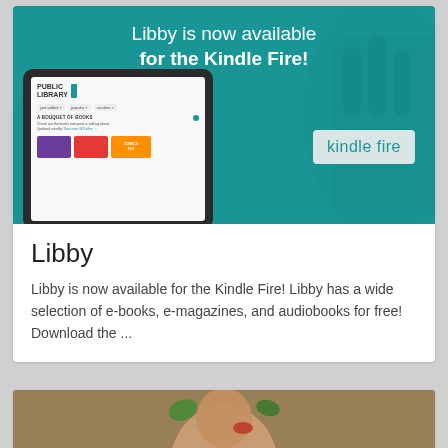[Figure (screenshot): Teal promotional banner showing 'Libby is now available for the Kindle Fire!' with a tablet device mockup displaying a public library app interface and a 'kindle fire' badge on the right.]
Libby
Libby is now available for the Kindle Fire! Libby has a wide selection of e-books, e-magazines, and audiobooks for free! Download the ...
[Figure (photo): Partial photo at bottom of page showing a person, partially visible.]